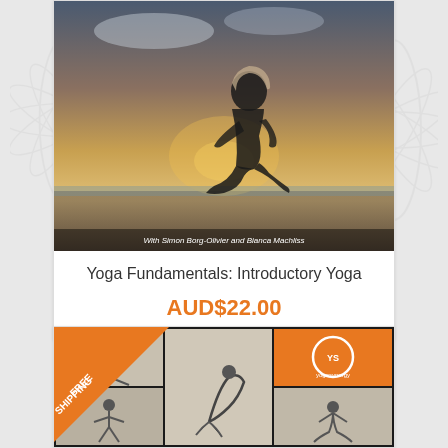[Figure (photo): Yoga product card showing a woman in yoga pose on a beach at sunset, with text 'With Simon Borg-Olivier and Bianca Machliss']
Yoga Fundamentals: Introductory Yoga
AUD$22.00
[Figure (photo): Second yoga product card (partial) with FREE SHIPPING ribbon and grid of yoga pose photos with yogasynergy logo]